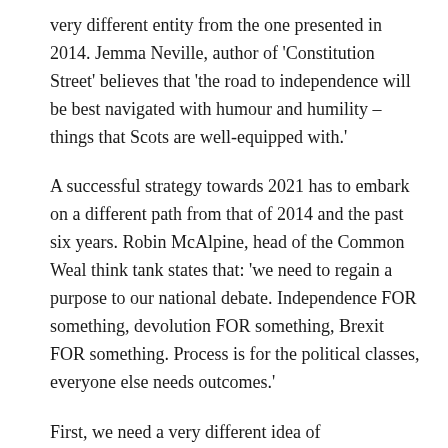very different entity from the one presented in 2014. Jemma Neville, author of 'Constitution Street' believes that 'the road to independence will be best navigated with humour and humility – things that Scots are well-equipped with.'
A successful strategy towards 2021 has to embark on a different path from that of 2014 and the past six years. Robin McAlpine, head of the Common Weal think tank states that: 'we need to regain a purpose to our national debate. Independence FOR something, devolution FOR something, Brexit FOR something. Process is for the political classes, everyone else needs outcomes.'
First, we need a very different idea of independence – one which isn't based on certainty, continuity with